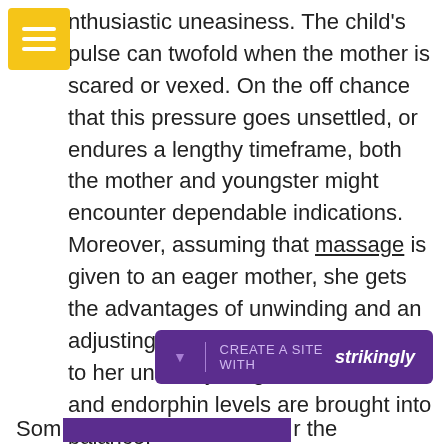[Figure (other): Yellow square menu/hamburger icon button in top-left corner]
nthusiastic uneasiness. The child's pulse can twofold when the mother is scared or vexed. On the off chance that this pressure goes unsettled, or endures a lengthy timeframe, both the mother and youngster might encounter dependable indications. Moreover, assuming that massage is given to an eager mother, she gets the advantages of unwinding and an adjusting of feelings, and gives them to her unborn youngster as cortisol and endorphin levels are brought into balance.
[Figure (other): Purple banner bar reading CREATE A SITE WITH strikingly]
Som r the